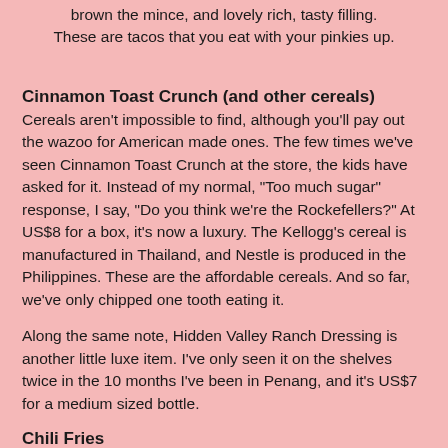brown the mince, and lovely rich, tasty filling. These are tacos that you eat with your pinkies up.
Cinnamon Toast Crunch (and other cereals)
Cereals aren't impossible to find, although you'll pay out the wazoo for American made ones. The few times we've seen Cinnamon Toast Crunch at the store, the kids have asked for it. Instead of my normal, "Too much sugar" response, I say, "Do you think we're the Rockefellers?" At US$8 for a box, it's now a luxury. The Kellogg's cereal is manufactured in Thailand, and Nestle is produced in the Philippines. These are the affordable cereals. And so far, we've only chipped one tooth eating it.
Along the same note, Hidden Valley Ranch Dressing is another little luxe item. I've only seen it on the shelves twice in the 10 months I've been in Penang, and it's US$7 for a medium sized bottle.
Chili Fries
I've never found chili fries in Penang, but it's no skin off my